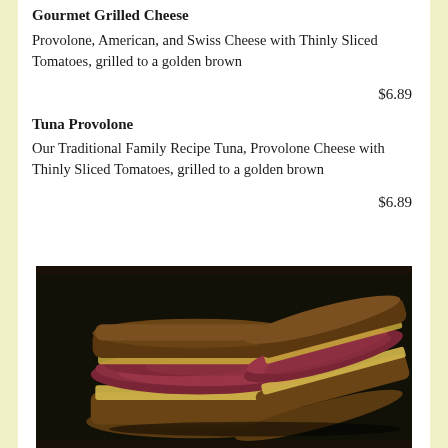Gourmet Grilled Cheese
Provolone, American, and Swiss Cheese with Thinly Sliced Tomatoes, grilled to a golden brown
$6.89
Tuna Provolone
Our Traditional Family Recipe Tuna, Provolone Cheese with Thinly Sliced Tomatoes, grilled to a golden brown
$6.89
[Figure (photo): Photo of a grilled sandwich cut in half showing melted cheese and deli meat filling on toasted rye bread, displayed on a dark background]